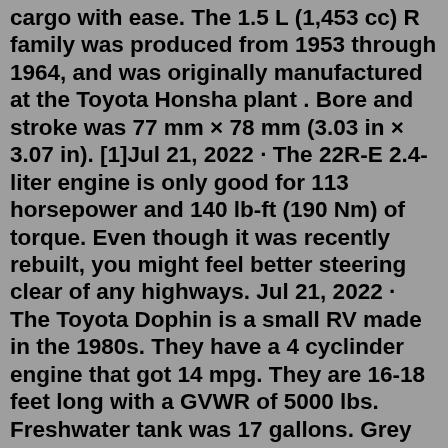cargo with ease. The 1.5 L (1,453 cc) R family was produced from 1953 through 1964, and was originally manufactured at the Toyota Honsha plant . Bore and stroke was 77 mm × 78 mm (3.03 in × 3.07 in). [1]Jul 21, 2022 · The 22R-E 2.4-liter engine is only good for 113 horsepower and 140 lb-ft (190 Nm) of torque. Even though it was recently rebuilt, you might feel better steering clear of any highways. Jul 21, 2022 · The Toyota Dophin is a small RV made in the 1980s. They have a 4 cyclinder engine that got 14 mpg. They are 16-18 feet long with a GVWR of 5000 lbs. Freshwater tank was 17 gallons. Grey and black tanks were each 19 gallons. The sell used for about $3k-12k in 2022. In 1982, the Toyota Dolphin RV was upgraded to a 20-foot model and used the same engine as the Toyota 22R. Dimensions These RVs are small. They can fit into a regular parking space. 21 ft long and 7 ft wide. They weigh around 4825 lbs. Construction There's fiberglass insulation within the walls and also the roof.The 1982 Dolphin is powered by a Ford V-6 (V-8 optional) on a Ford F-25 chassis or